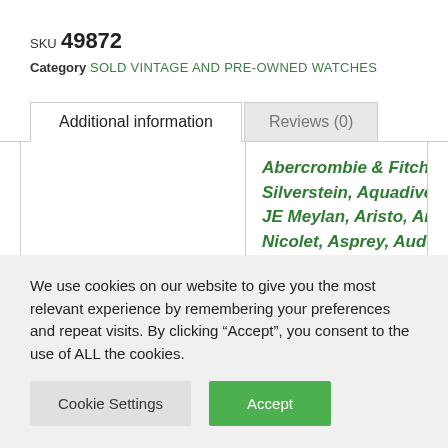SKU 49872
Category SOLD VINTAGE AND PRE-OWNED WATCHES
Additional information
Reviews (0)
Abercrombie & Fitch, Alain Silverstein, Aquadive, AR & JE Meylan, Aristo, Armand Nicolet, Asprey, Audemars Piguet, Austin, Ball, Baume & Mercier
We use cookies on our website to give you the most relevant experience by remembering your preferences and repeat visits. By clicking “Accept”, you consent to the use of ALL the cookies.
Cookie Settings
Accept